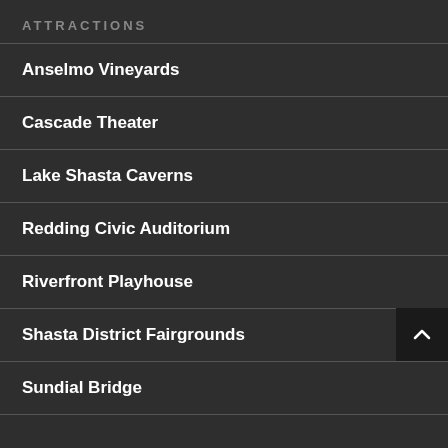ATTRACTIONS
Anselmo Vineyards
Cascade Theater
Lake Shasta Caverns
Redding Civic Auditorium
Riverfront Playhouse
Shasta District Fairgrounds
Sundial Bridge
DINING